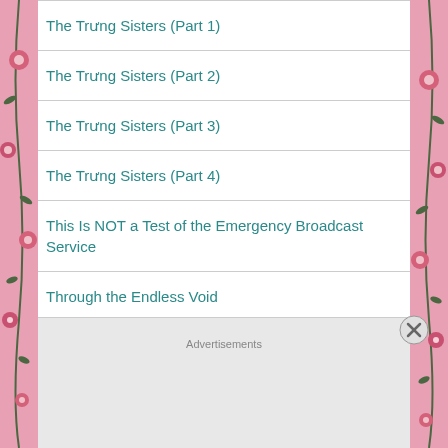The Trưng Sisters (Part 1)
The Trưng Sisters (Part 2)
The Trưng Sisters (Part 3)
The Trưng Sisters (Part 4)
This Is NOT a Test of the Emergency Broadcast Service
Through the Endless Void
Time
Advertisements